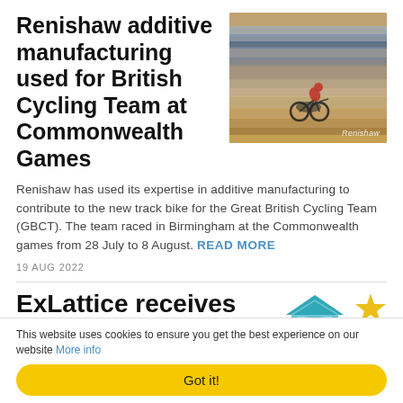Renishaw additive manufacturing used for British Cycling Team at Commonwealth Games
[Figure (photo): Motion-blurred photo of a cyclist on a track bike at a velodrome, with 'Renishaw' watermark in bottom-right corner]
Renishaw has used its expertise in additive manufacturing to contribute to the new track bike for the Great British Cycling Team (GBCT). The team raced in Birmingham at the Commonwealth games from 28 July to 8 August. READ MORE
19 AUG 2022
ExLattice receives
[Figure (logo): Blue house/building icon logo]
[Figure (logo): Yellow/gold bird or star logo partially visible]
This website uses cookies to ensure you get the best experience on our website More info
Got it!